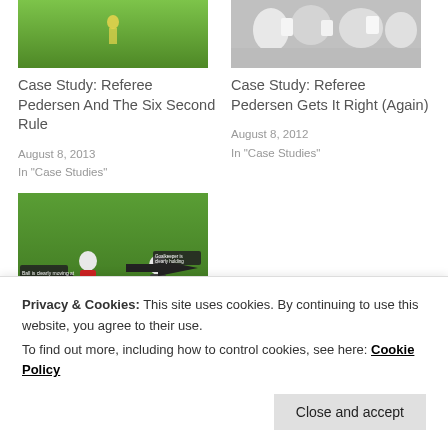[Figure (photo): Soccer field photo thumbnail, top left]
Case Study: Referee Pedersen And The Six Second Rule
August 8, 2013
In "Case Studies"
[Figure (photo): Soccer crowd/match photo thumbnail, top right]
Case Study: Referee Pedersen Gets It Right (Again)
August 8, 2012
In "Case Studies"
[Figure (photo): Soccer match annotated screenshot with arrows, player #17 in red]
Case Study: Everyone
Privacy & Cookies: This site uses cookies. By continuing to use this website, you agree to their use.
To find out more, including how to control cookies, see here: Cookie Policy
Close and accept